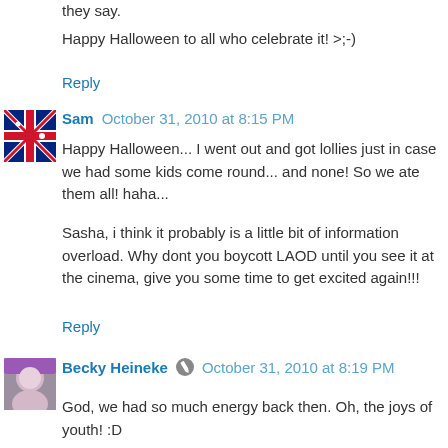they say.
Happy Halloween to all who celebrate it! >;-)
Reply
Sam   October 31, 2010 at 8:15 PM
Happy Halloween... I went out and got lollies just in case we had some kids come round... and none! So we ate them all! haha...
Sasha, i think it probably is a little bit of information overload. Why dont you boycott LAOD until you see it at the cinema, give you some time to get excited again!!!
Reply
Becky Heineke   October 31, 2010 at 8:19 PM
God, we had so much energy back then. Oh, the joys of youth! :D